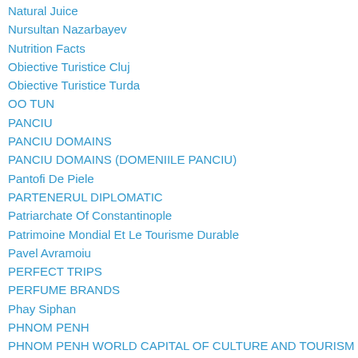Natural Juice
Nursultan Nazarbayev
Nutrition Facts
Obiective Turistice Cluj
Obiective Turistice Turda
OO TUN
PANCIU
PANCIU DOMAINS
PANCIU DOMAINS (DOMENIILE PANCIU)
Pantofi De Piele
PARTENERUL DIPLOMATIC
Patriarchate Of Constantinople
Patrimoine Mondial Et Le Tourisme Durable
Pavel Avramoiu
PERFECT TRIPS
PERFUME BRANDS
Phay Siphan
PHNOM PENH
PHNOM PENH WORLD CAPITAL OF CULTURE AND TOURISM
PHNOM PENH- WORLD CAPITAL OF CULTURE AND TOURISM
Pilgrimage